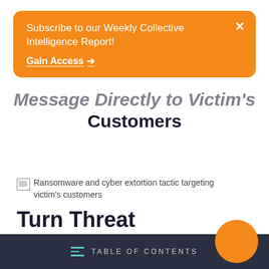[Figure (screenshot): Orange popup banner with text 'Subscribe to our Weekly Collective Intelligence Report!' and 'Gain Access →' link with close X button]
Message Directly to Victim's Customers
[Figure (photo): Ransomware and cyber extortion tactic targeting victim's customers]
Turn Threat Intelligence into Threat Mitigation
TABLE OF CONTENTS